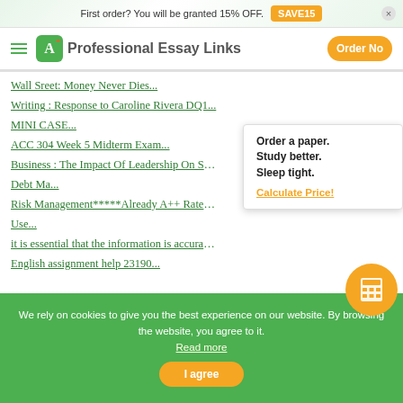First order? You will be granted 15% OFF. SAVE15
Professional Essay Links
Wall Sreet: Money Never Dies...
Writing : Response to Caroline Rivera DQ1...
MINI CASE...
ACC 304 Week 5 Midterm Exam...
Business : The Impact Of Leadership On Sme...
Debt Ma...
Risk Management*****Already A++ Rated Tutorial...
Use...
it is essential that the information is accurate a...
English assignment help 23190...
Order a paper. Study better. Sleep tight. Calculate Price!
We rely on cookies to give you the best experience on our website. By browsing the website, you agree to it. Read more
I agree